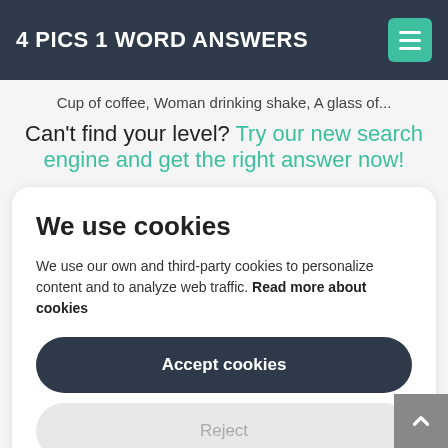4 PICS 1 WORD ANSWERS
Cup of coffee, Woman drinking shake, A glass of...
Can't find your level? Try our new search engine and get the right answer now!
We use cookies
We use our own and third-party cookies to personalize content and to analyze web traffic. Read more about cookies
Accept cookies
Reject